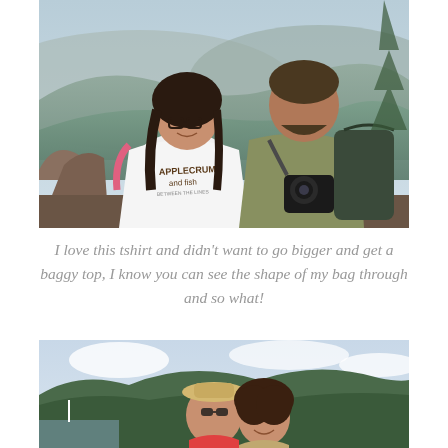[Figure (photo): Two people posing for a photo on a rocky mountain overlook with forested hills and misty mountains in the background. The woman on the left has dark hair in braids, glasses, and wears a white Applecrumbs and Fish t-shirt with a pink backpack strap. The man on the right wears a green t-shirt and carries a large camera and backpack.]
I love this tshirt and didn't want to go bigger and get a baggy top, I know you can see the shape of my bag through and so what!
[Figure (photo): Two women posing outdoors with forested hills and cloudy sky in the background. One woman wears a wide-brimmed hat and sunglasses.]